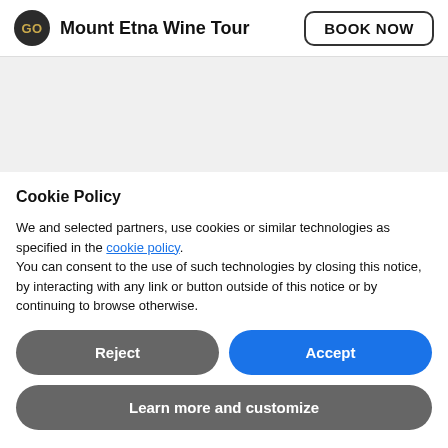Mount Etna Wine Tour | BOOK NOW
[Figure (other): Grey background content area, partially visible web page behind cookie banner]
Cookie Policy
We and selected partners, use cookies or similar technologies as specified in the cookie policy. You can consent to the use of such technologies by closing this notice, by interacting with any link or button outside of this notice or by continuing to browse otherwise.
Reject
Accept
Learn more and customize